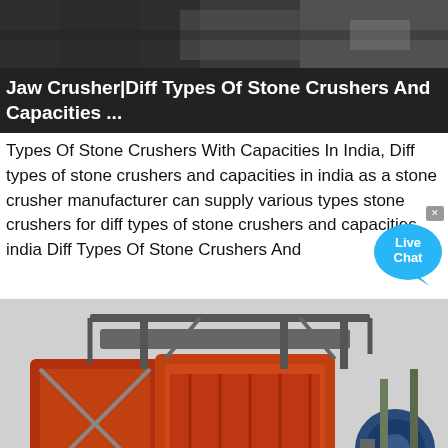[Figure (photo): Top portion of a dark-toned photograph showing industrial crushing equipment close-up]
Jaw Crusher|Diff Types Of Stone Crushers And Capacities ...
Types Of Stone Crushers With Capacities In India, Diff types of stone crushers and capacities in india as a stone crusher manufacturer can supply various types stone crushers for diff types of stone crushers and capacities india Diff Types Of Stone Crushers And
[Figure (photo): Photograph of a large red mobile stone crusher machine with conveyor belts and mechanical components, parked outdoors]